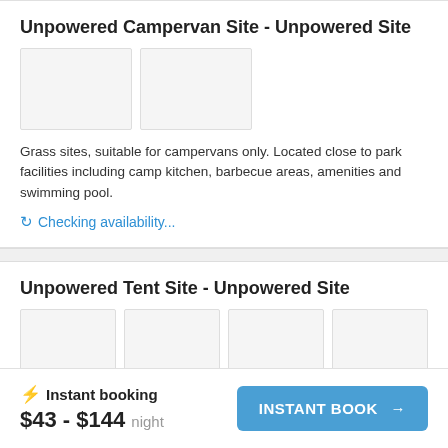Unpowered Campervan Site - Unpowered Site
[Figure (photo): Two placeholder image thumbnails for Unpowered Campervan Site]
Grass sites, suitable for campervans only. Located close to park facilities including camp kitchen, barbecue areas, amenities and swimming pool.
Checking availability...
Unpowered Tent Site - Unpowered Site
[Figure (photo): Four placeholder image thumbnails for Unpowered Tent Site]
Suitable for tents. Grass sites located close to park facilities including camp kitchen, barbecue areas, amenities and swimming pool.
⚡ Instant booking $43 - $144 night INSTANT BOOK →